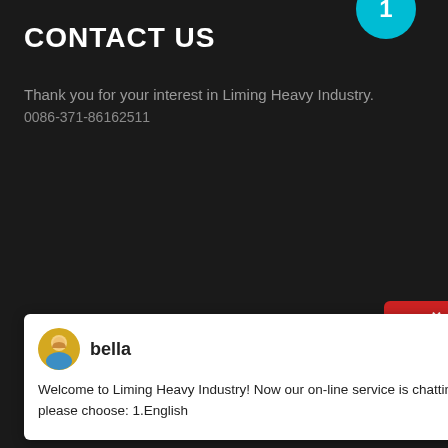CONTACT US
Thank you for your interest in Liming Heavy Industry.
0086-371-86162511
[Figure (screenshot): Chat popup with avatar icon for agent 'bella' and message: Welcome to Liming Heavy Industry! Now our on-line service is chatting with you! please choose: 1.English. Red customer support widget on right side with X close button and headset icon. Cyan blue circle badge with number 1.]
Copyright © 2004-2021 by China Liming Heavy Industry Science and Technology Co. LTD All rights reserved.|sitemap